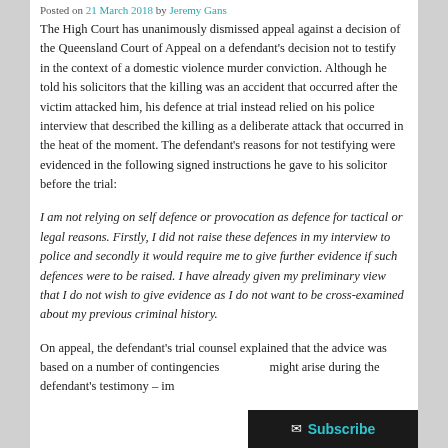Posted on 21 March 2018 by Jeremy Gans
The High Court has unanimously dismissed appeal against a decision of the Queensland Court of Appeal on a defendant's decision not to testify in the context of a domestic violence murder conviction. Although he told his solicitors that the killing was an accident that occurred after the victim attacked him, his defence at trial instead relied on his police interview that described the killing as a deliberate attack that occurred in the heat of the moment. The defendant's reasons for not testifying were evidenced in the following signed instructions he gave to his solicitor before the trial:
I am not relying on self defence or provocation as defence for tactical or legal reasons. Firstly, I did not raise these defences in my interview to police and secondly it would require me to give further evidence if such defences were to be raised. I have already given my preliminary view that I do not wish to give evidence as I do not want to be cross-examined about my previous criminal history.
On appeal, the defendant's trial counsel explained that the advice was based on a number of contingencies that might arise during the defendant's testimony – im